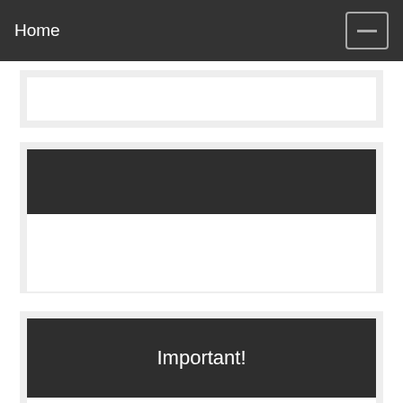Home
[Figure (screenshot): Partially visible white content card at top]
[Figure (screenshot): Dark header card with white body area below]
Important!
No public statement by Mr. Wright (blog, comment, book, article, video, speech, tweet) is legal advice for any particular situation. If you need legal advice, you should consult your lawyer. The purpose of this blog – and the purpose of all of